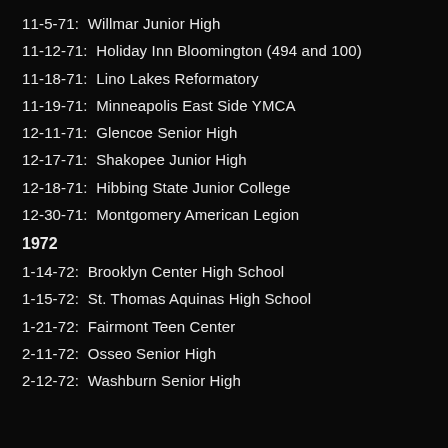11-5-71:  Willmar Junior High
11-12-71:  Holiday Inn Bloomington (494 and 100)
11-18-71:  Lino Lakes Reformatory
11-19-71:  Minneapolis East Side YMCA
12-11-71:  Glencoe Senior High
12-17-71:  Shakopee Junior High
12-18-71:  Hibbing State Junior College
12-30-71:  Montgomery American Legion
1972
1-14-72:  Brooklyn Center High School
1-15-72:  St. Thomas Aquinas High School
1-21-72:  Fairmont Teen Center
2-11-72:  Osseo Senior High
2-12-72:  Washburn Senior High